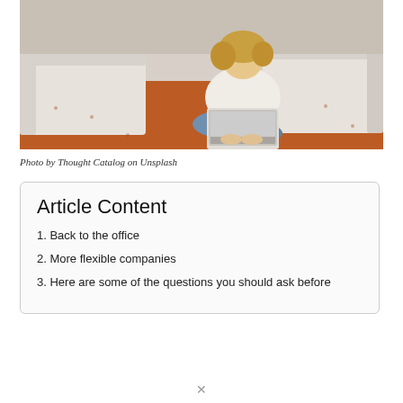[Figure (photo): A woman with curly blonde hair sits cross-legged on an orange/red rug on the floor next to a light-colored sofa, working on a laptop computer. The setting appears to be a living room.]
Photo by Thought Catalog on Unsplash
Article Content
1. Back to the office
2. More flexible companies
3. Here are some of the questions you should ask before